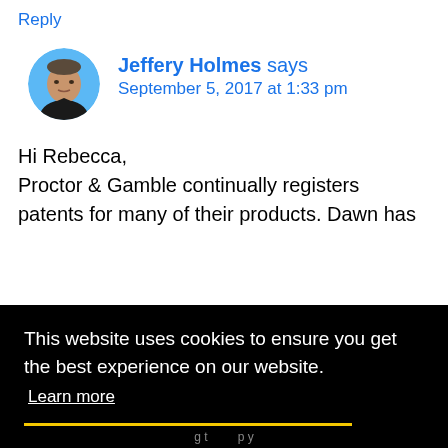Reply
Jeffery Holmes says
September 5, 2017 at 1:33 pm
Hi Rebecca,
Proctor & Gamble continually registers patents for many of their products. Dawn has
[Figure (photo): Circular avatar photo of a middle-aged man with short hair wearing a dark shirt, on a light blue background]
This website uses cookies to ensure you get the best experience on our website.
Learn more
Got it!